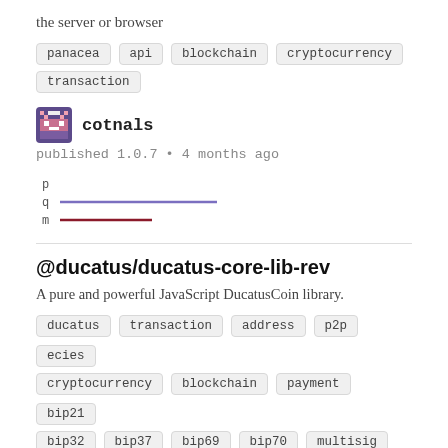the server or browser
panacea
api
blockchain
cryptocurrency
transaction
cotnals
published 1.0.7 • 4 months ago
[Figure (other): Small inline bar chart with three rows labeled p, q, m. q has a purple/violet bar, m has a dark red bar.]
@ducatus/ducatus-core-lib-rev
A pure and powerful JavaScript DucatusCoin library.
ducatus
transaction
address
p2p
ecies
cryptocurrency
blockchain
payment
bip21
bip32
bip37
bip69
bip70
multisig
murmuri
published 8.16.7 • 10 months ago